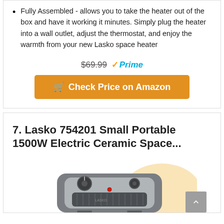Fully Assembled - allows you to take the heater out of the box and have it working it minutes. Simply plug the heater into a wall outlet, adjust the thermostat, and enjoy the warmth from your new Lasko space heater
$69.99 ✓Prime
🛒 Check Price on Amazon
7. Lasko 754201 Small Portable 1500W Electric Ceramic Space...
[Figure (photo): Photo of a Lasko 754201 small portable ceramic space heater in grey/silver color with dial controls on top, viewed from a slight angle]